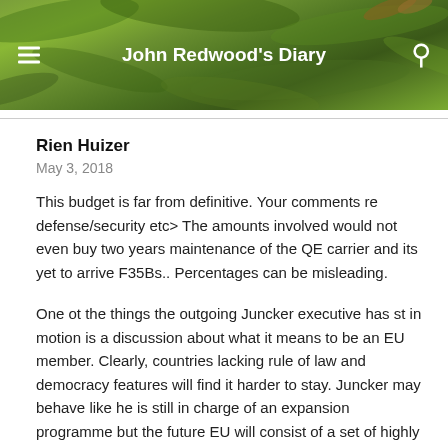John Redwood's Diary
Rien Huizer
May 3, 2018
This budget is far from definitive. Your comments re defense/security etc> The amounts involved would not even buy two years maintenance of the QE carrier and its yet to arrive F35Bs.. Percentages can be misleading.
One ot the things the outgoing Juncker executive has st in motion is a discussion about what it means to be an EU member. Clearly, countries lacking rule of law and democracy features will find it harder to stay. Juncker may behave like he is still in charge of an expansion programme but the future EU will consist of a set of highly coordinated economies (12-15